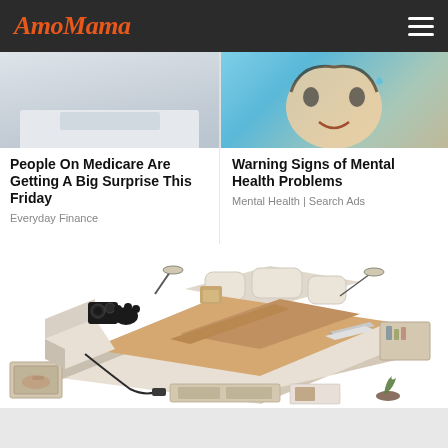AmoMama
[Figure (photo): Top portion of two side-by-side ad cards: left shows light gray/blue desk scene, right shows a cartoon face illustration]
People On Medicare Are Getting A Big Surprise This Friday
Everyday Finance
Warning Signs of Mental Health Problems
Mental Health | Search Ads
[Figure (photo): Large product photo of a luxurious multi-functional smart bed with massage chair, speakers, storage drawers, reading lamps, and laptop area, shown in beige/cream color on white background]